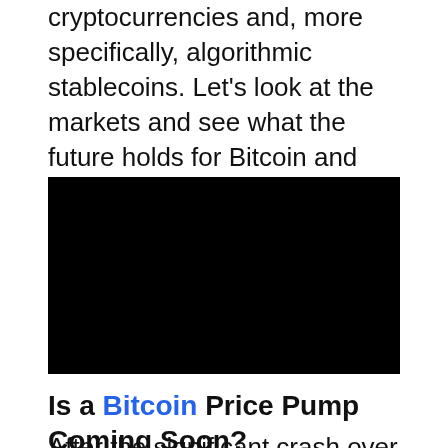cryptocurrencies and, more specifically, algorithmic stablecoins. Let's look at the markets and see what the future holds for Bitcoin and whether the price could show a significant rally as early as next week.
[Figure (photo): Black image placeholder, likely an embedded video or chart image]
Is a Bitcoin Price Pump Coming Soon?
After the significant crash over the past